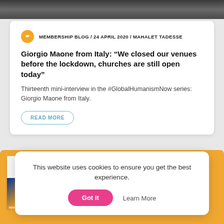[Figure (photo): Top image strip showing people in dark clothing outdoors]
MEMBERSHIP BLOG / 24 APRIL 2020 / MAHALET TADESSE
Giorgio Maone from Italy: “We closed our venues before the lockdown, churches are still open today”
Thirteenth mini-interview in the #GlobalHumanismNow series: Giorgio Maone from Italy.
READ MORE
[Figure (photo): Row of book covers on an orange/yellow background including: a book with EU flag, 'Looking Back' book, a book with two overlapping circles, and 'Blasfemo!' book with a person on the cover]
This website uses cookies to ensure you get the best experience.
Got it
Learn More